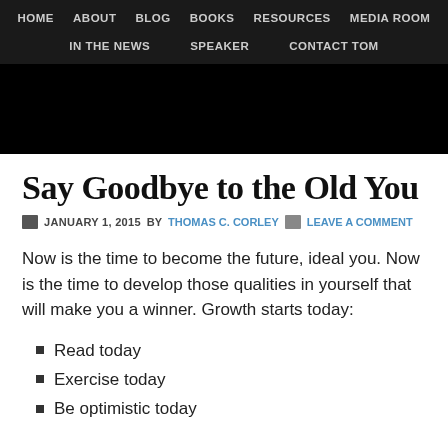HOME  ABOUT  BLOG  BOOKS  RESOURCES  MEDIA ROOM  IN THE NEWS  SPEAKER  CONTACT TOM
[Figure (other): Black hero/banner image area]
Say Goodbye to the Old You
JANUARY 1, 2015 BY THOMAS C. CORLEY  LEAVE A COMMENT
Now is the time to become the future, ideal you. Now is the time to develop those qualities in yourself that will make you a winner. Growth starts today:
Read today
Exercise today
Be optimistic today